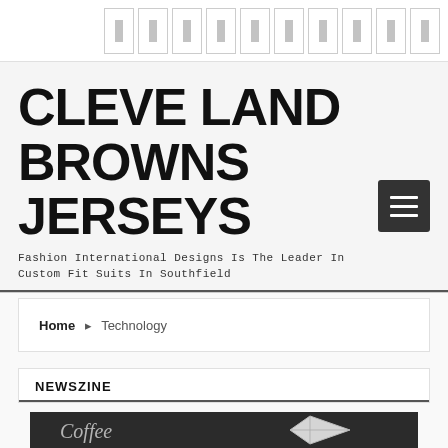Navigation bar with icons
CLEVE LAND BROWNS JERSEYS
Fashion International Designs Is The Leader In Custom Fit Suits In Southfield
Home > Technology
NEWSZINE
[Figure (photo): Dark chalkboard background with cursive writing saying 'Coffee time' and an origami or paper folded diamond/envelope shape in white]